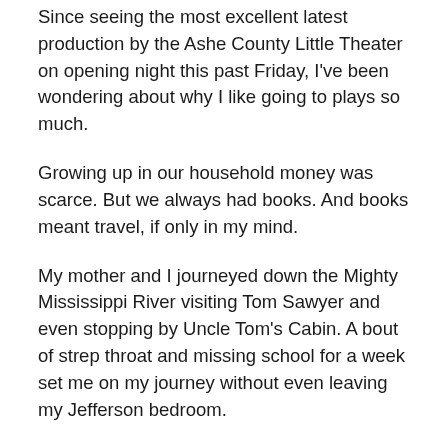Since seeing the most excellent latest production by the Ashe County Little Theater on opening night this past Friday, I've been wondering about why I like going to plays so much.
Growing up in our household money was scarce. But we always had books. And books meant travel, if only in my mind.
My mother and I journeyed down the Mighty Mississippi River visiting Tom Sawyer and even stopping by Uncle Tom's Cabin. A bout of strep throat and missing school for a week set me on my journey without even leaving my Jefferson bedroom.
I remember begging Mom to read “just one more chapter” and next thing you know I was in Missouri with an eye on Tom conning his buddies into whitewashing a fence.